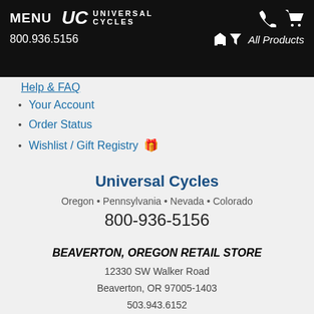MENU | UC UNIVERSAL CYCLES | 800.936.5156 | All Products
Your Account
Order Status
Wishlist / Gift Registry
Universal Cycles
Oregon • Pennsylvania • Nevada • Colorado
800-936-5156
BEAVERTON, OREGON RETAIL STORE
12330 SW Walker Road
Beaverton, OR 97005-1403
503.943.6152
Store Info, Hours, Directions
LANCASTER, PENNSYLVANIA RETAIL STORE
246 Granite Run Drive